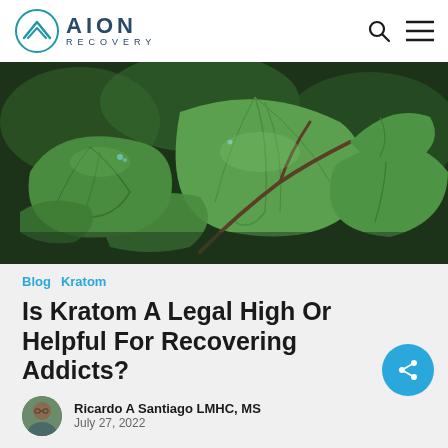AION RECOVERY
[Figure (photo): Close-up photograph of green kratom leaves on branches with blurred dark background]
Blog  Kratom
Is Kratom A Legal High Or Helpful For Recovering Addicts?
Ricardo A Santiago LMHC, MS
July 27, 2022